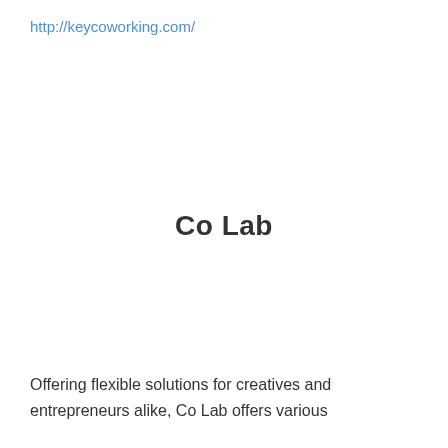http://keycoworking.com/
Co Lab
Offering flexible solutions for creatives and entrepreneurs alike, Co Lab offers various